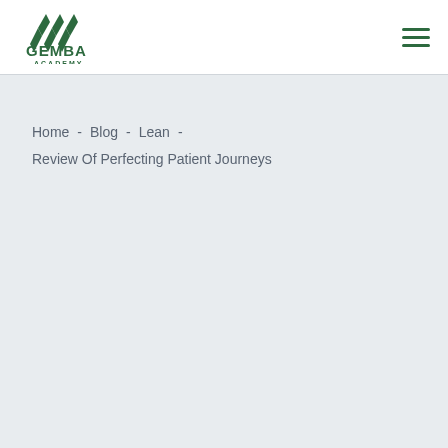[Figure (logo): Gemba Academy logo: green mountain/chevron icon above bold green text 'GEMBA' with 'ACADEMY' below in smaller caps]
Home - Blog - Lean - Review Of Perfecting Patient Journeys